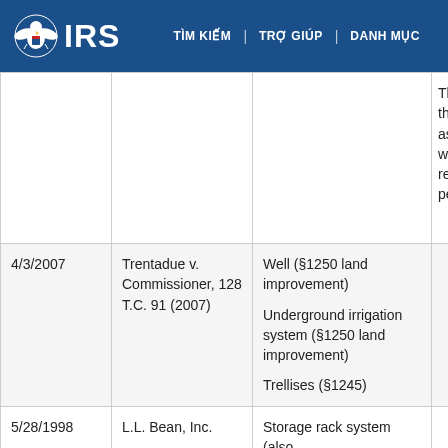IRS | TÌM KIẾM | TRỢ GIÚP | DANH MỤC
| Date | Case | Items | Notes |
| --- | --- | --- | --- |
|  |  |  | They fall w the residu asset clas which a 7- recovery period. |
| 4/3/2007 | Trentadue v. Commissioner, 128 T.C. 91 (2007) | Well (§1250 land improvement)
Underground irrigation system (§1250 land improvement)
Trellises (§1245) |  |
| 5/28/1998 | L.L. Bean, Inc. | Storage rack system (also... |  |